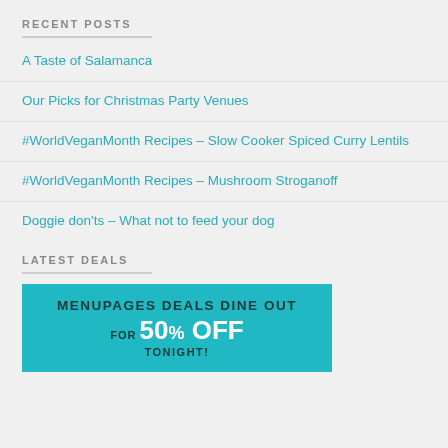RECENT POSTS
A Taste of Salamanca
Our Picks for Christmas Party Venues
#WorldVeganMonth Recipes – Slow Cooker Spiced Curry Lentils
#WorldVeganMonth Recipes – Mushroom Stroganoff
Doggie don'ts – What not to feed your dog
LATEST DEALS
[Figure (infographic): Menupages Deals Dine Out for 50% Off Tonight advertisement banner in teal/cyan color]